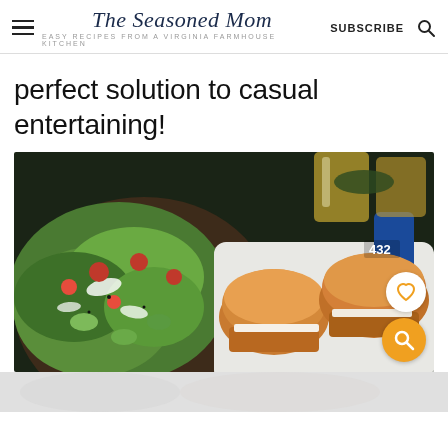The Seasoned Mom — EASY RECIPES FROM A VIRGINIA FARMHOUSE KITCHEN — SUBSCRIBE
perfect solution to casual entertaining!
[Figure (photo): Overhead shot of a salad with lettuce, tomatoes, cucumbers, and dressing in a dark wooden bowl, alongside a white baking dish filled with golden slider buns, with glasses of beer in the background. A heart icon button and an orange search icon button are overlaid on the image.]